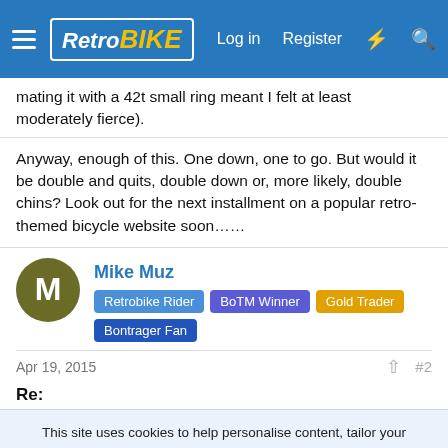RetroBike — Log in | Register
mating it with a 42t small ring meant I felt at least moderately fierce).
Anyway, enough of this. One down, one to go. But would it be double and quits, double down or, more likely, double chins? Look out for the next installment on a popular retro-themed bicycle website soon……
Mike Muz
Retrobike Rider | BoTM Winner | Gold Trader | Bontrager Fan
Apr 19, 2015   #2
Re:
This site uses cookies to help personalise content, tailor your experience and to keep you logged in if you register.
By continuing to use this site, you are consenting to our use of cookies.